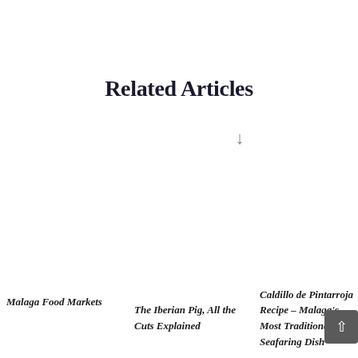Related Articles
↓
Malaga Food Markets
The Iberian Pig, All the Cuts Explained
Caldillo de Pintarroja Recipe – Malaga's Most Traditional Seafaring Dish